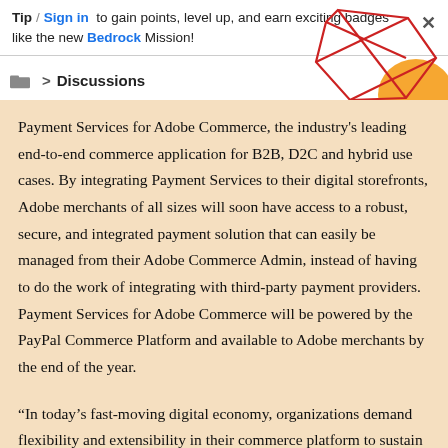Tip / Sign in to gain points, level up, and earn exciting badges like the new Bedrock Mission!
Discussions
[Figure (illustration): Decorative geometric graphic with red polygon lines and orange shape in top-right corner]
Payment Services for Adobe Commerce, the industry's leading end-to-end commerce application for B2B, D2C and hybrid use cases. By integrating Payment Services to their digital storefronts, Adobe merchants of all sizes will soon have access to a robust, secure, and integrated payment solution that can easily be managed from their Adobe Commerce Admin, instead of having to do the work of integrating with third-party payment providers. Payment Services for Adobe Commerce will be powered by the PayPal Commerce Platform and available to Adobe merchants by the end of the year.
“In today’s fast-moving digital economy, organizations demand flexibility and extensibility in their commerce platform to sustain business growth and deliver seamless